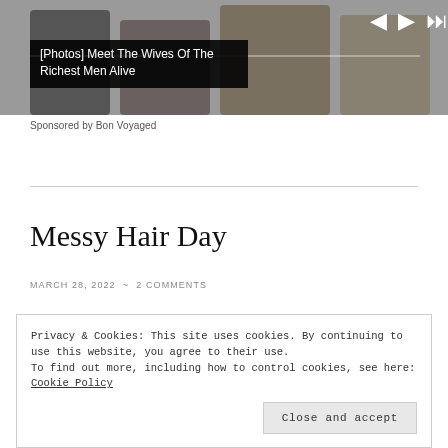[Figure (photo): Top banner image showing people, used as advertisement background with media player controls overlay]
[Photos] Meet The Wives Of The Richest Men Alive
Sponsored by Bon Voyaged
Messy Hair Day
MARCH 28, 2022 ~ 2 COMMENTS
Privacy & Cookies: This site uses cookies. By continuing to use this website, you agree to their use.
To find out more, including how to control cookies, see here: Cookie Policy
Close and accept